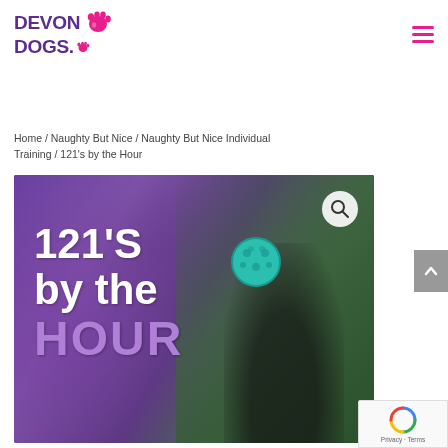[Figure (logo): Devon Dogs logo with purple text and pink paw print]
Home / Naughty But Nice / Naughty But Nice Individual Training / 121's by the Hour
[Figure (photo): Product banner image showing '121's by the Hour' text overlay on a purple bokeh background with a dog catching a teal ball held by a person in black clothing. HOUR is displayed in purple/lavender color.]